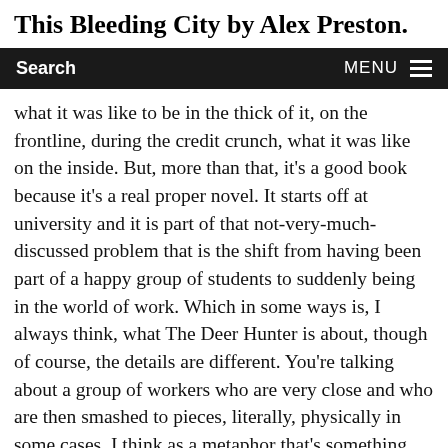This Bleeding City by Alex Preston.
Search  MENU
what it was like to be in the thick of it, on the frontline, during the credit crunch, what it was like on the inside. But, more than that, it's a good book because it's a real proper novel. It starts off at university and it is part of that not-very-much-discussed problem that is the shift from having been part of a happy group of students to suddenly being in the world of work. Which in some ways is, I always think, what The Deer Hunter is about, though of course, the details are different. You're talking about a group of workers who are very close and who are then smashed to pieces, literally, physically in some cases. I think as a metaphor that's something that quite often happens. That people go from feeling quite part of a community